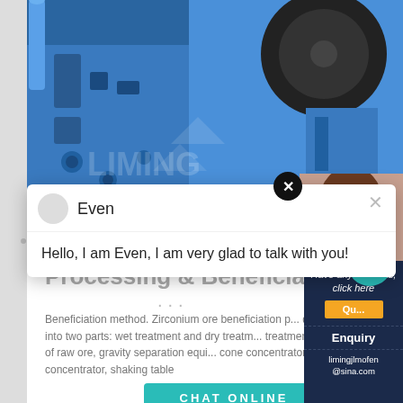[Figure (photo): Close-up photo of a large blue industrial crushing/grinding machine (jaw crusher or cone crusher) with LIMING watermark. Blue machinery with black wheel visible.]
[Figure (screenshot): Chat popup overlay with avatar circle, name 'Even', close button X, and greeting message.]
Even
Hello, I am Even, I am very glad to talk with you!
Processing & Beneficiatio...
...
Beneficiation method. Zirconium ore beneficiation p... divided into two parts: wet treatment and dry treatm... treatment stage of raw ore, gravity separation equi... cone concentrator, spiral concentrator, shaking table
[Figure (screenshot): Right side dark navy panel with 'Have any requests, click here', orange Quote button, teal circle with number 1, Enquiry text, and limingjlmofen@sina.com email]
CHAT ONLINE